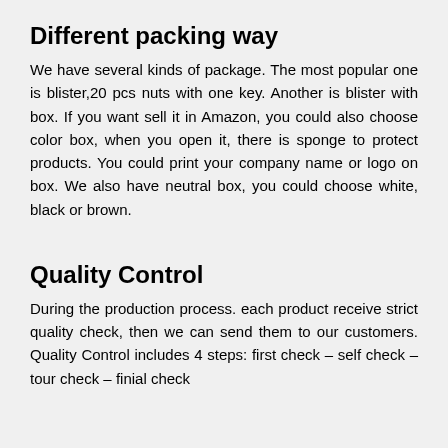Different packing way
We have several kinds of package. The most popular one is blister,20 pcs nuts with one key. Another is blister with box. If you want sell it in Amazon, you could also choose color box, when you open it, there is sponge to protect products. You could print your company name or logo on box. We also have neutral box, you could choose white, black or brown.
Quality Control
During the production process. each product receive strict quality check, then we can send them to our customers. Quality Control includes 4 steps: first check – self check – tour check – finial check